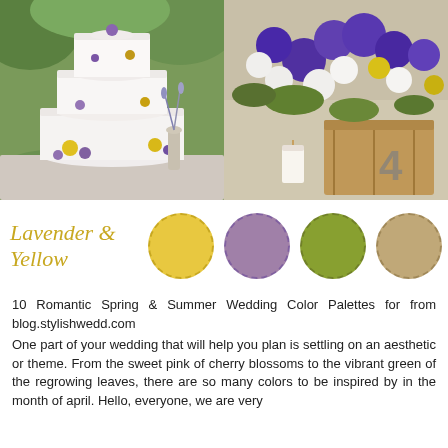[Figure (photo): Two wedding photos side by side: left shows a white three-tiered wedding cake decorated with purple and yellow flowers; right shows a floral centerpiece with purple, white, and yellow flowers in a wooden box labeled '4'.]
[Figure (infographic): Color palette titled 'Lavender & Yellow' in gold cursive script, with four color swatches: yellow, lavender/purple, green, and tan/beige circles.]
10 Romantic Spring & Summer Wedding Color Palettes for from blog.stylishwedd.com
One part of your wedding that will help you plan is settling on an aesthetic or theme. From the sweet pink of cherry blossoms to the vibrant green of the regrowing leaves, there are so many colors to be inspired by in the month of april. Hello, everyone, we are very